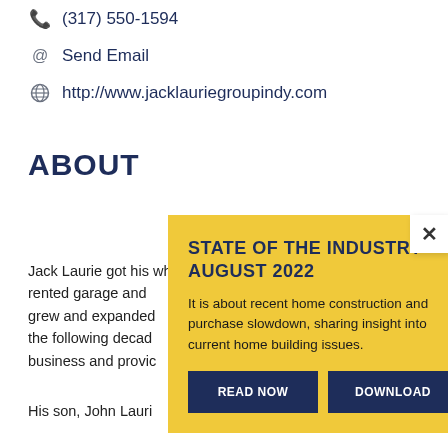(317) 550-1594
Send Email
http://www.jacklauriegroupindy.com
ABOUT
Jack Laurie got his [start] when he opened fo[r business in a] rented garage and [the business] grew and expanded [over] the following decad[es, growing] business and provi[ding...]
His son, John Lauri[e...]
STATE OF THE INDUSTRY – AUGUST 2022
It is about recent home construction and purchase slowdown, sharing insight into current home building issues.
READ NOW
DOWNLOAD